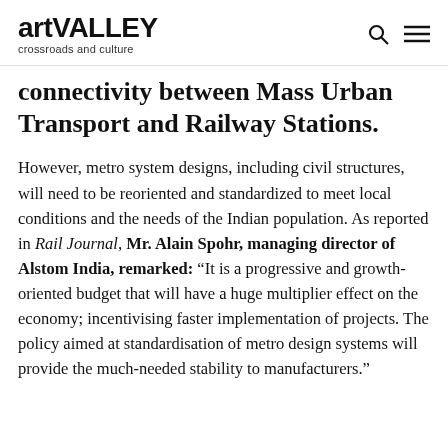artVALLEY crossroads and culture
connectivity between Mass Urban Transport and Railway Stations.
However, metro system designs, including civil structures, will need to be reoriented and standardized to meet local conditions and the needs of the Indian population. As reported in Rail Journal, Mr. Alain Spohr, managing director of Alstom India, remarked: “It is a progressive and growth-oriented budget that will have a huge multiplier effect on the economy; incentivising faster implementation of projects. The policy aimed at standardisation of metro design systems will provide the much-needed stability to manufacturers.”